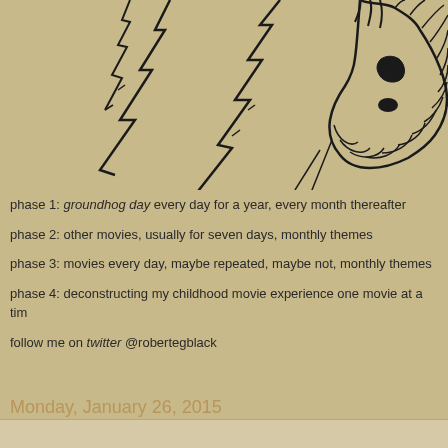[Figure (illustration): Partial view of a black ink illustration on tan/beige background showing jagged lightning bolt or tree-like shapes on the left and what appears to be a furry animal face (possibly a groundhog or rodent) on the upper right, drawn in loose sketch style.]
phase 1: groundhog day every day for a year, every month thereafter
phase 2: other movies, usually for seven days, monthly themes
phase 3: movies every day, maybe repeated, maybe not, monthly themes
phase 4: deconstructing my childhood movie experience one movie at a time
follow me on twitter @robertegblack
Monday, January 26, 2015